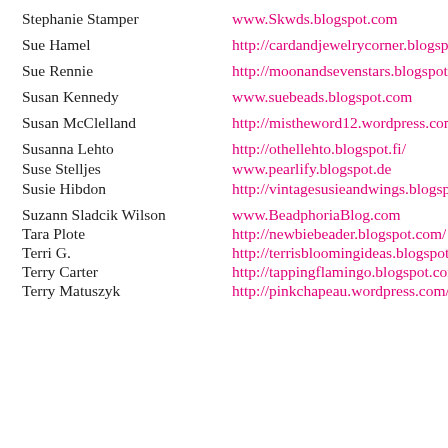Stephanie Stamper    www.Skwds.blogspot.com
Sue Hamel    http://cardandjewelrycorner.blogspot.
Sue Rennie    http://moonandsevenstars.blogspot.co
Susan Kennedy    www.suebeads.blogspot.com
Susan McClelland    http://mistheword12.wordpress.com
Susanna Lehto    http://othellehto.blogspot.fi/
Suse Stelljes    www.pearlify.blogspot.de
Susie Hibdon    http://vintagesusieandwings.blogspot.
Suzann Sladcik Wilsonwww.BeadphoriaBlog.com
Tara Plote    http://newbiebeader.blogspot.com/
Terri G.    http://terrisbloomingideas.blogspot.co
Terry Carter    http://tappingflamingo.blogspot.com/
Terry Matuszyk    http://pinkchapeau.wordpress.com/